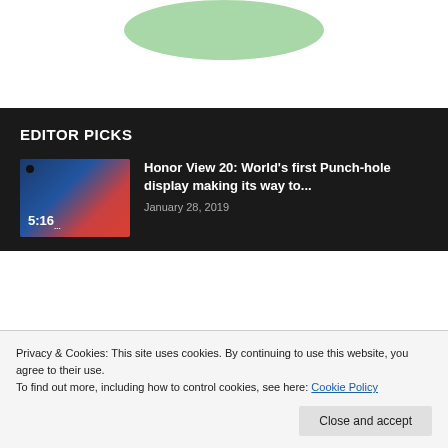[Figure (photo): Partial view of a green rounded shape (product top view) on white background at top of page]
EDITOR PICKS
[Figure (photo): Thumbnail of a smartphone with blue and red gradient screen showing time 5:16, with a punch-hole camera visible]
Honor View 20: World's first Punch-hole display making its way to...
January 28, 2019
Privacy & Cookies: This site uses cookies. By continuing to use this website, you agree to their use.
To find out more, including how to control cookies, see here: Cookie Policy
Close and accept